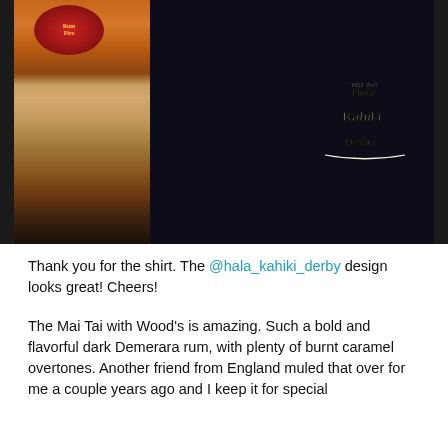[Figure (photo): Photo of a person holding a cocktail glass with brown liquid (Mai Tai) in front of a black shirt featuring stylized 'Hala Kahiki' tiki bar graphic design in cream/white lettering with bold outlines. A red circular logo (Rum Fire) is visible on the glass. Small bottles visible at bottom left.]
Thank you for the shirt. The @hala_kahiki_derby design looks great! Cheers!
The Mai Tai with Wood's is amazing. Such a bold and flavorful dark Demerara rum, with plenty of burnt caramel overtones. Another friend from England muled that over for me a couple years ago and I keep it for special